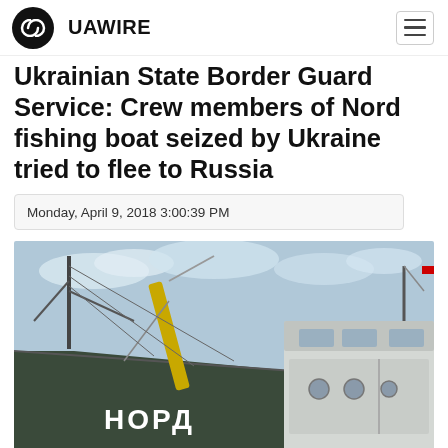UAWIRE
Ukrainian State Border Guard Service: Crew members of Nord fishing boat seized by Ukraine tried to flee to Russia
Monday, April 9, 2018 3:00:39 PM
[Figure (photo): Photo of the Nord fishing boat (НОРД) docked at port, showing the ship's hull, cranes, and wheelhouse structure]
© 2022 UAWire
Follow Us :